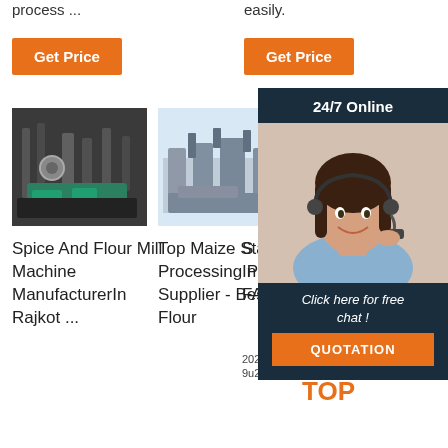process ...
easily.
Get Price
Get Price
24/7 Online
[Figure (photo): Industrial spice and flour mill machinery inside a factory]
[Figure (photo): Top maize starch processing plant equipment on white background]
Click here for free chat !
QUOTATION
Spice And Flour Mill Machine Manufacturer In Rajkot ...
Top Maize Starch Processing Plant Supplier - Best Flour
S In Africa - FAO
2021-2-9u2002·u2002Th
TOP